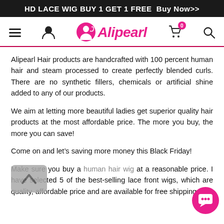HD LACE WIG BUY 1 GET 1 FREE  Buy Now>>
[Figure (logo): Alipearl Hair brand logo with pink woman silhouette and pink brand name text, with hamburger menu, user icon, cart (0), and search icon navigation elements]
Alipearl Hair products are handcrafted with 100 percent human hair and steam processed to create perfectly blended curls. There are no synthetic fillers, chemicals or artificial shine added to any of our products.
We aim at letting more beautiful ladies get superior quality hair products at the most affordable price. The more you buy, the more you can save!
Come on and let's saving more money this Black Friday!
Make sure you buy a human hair wig at a reasonable price. I have selected 5 of the best-selling lace front wigs, which are quality, affordable price and are available for free shipping.